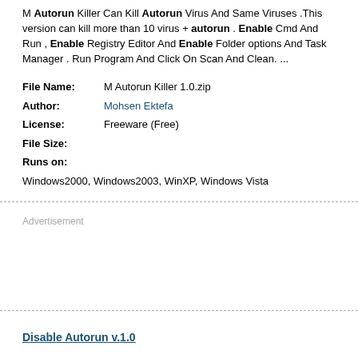M Autorun Killer Can Kill Autorun Virus And Same Viruses .This version can kill more than 10 virus + autorun . Enable Cmd And Run , Enable Registry Editor And Enable Folder options And Task Manager . Run Program And Click On Scan And Clean. ...
| File Name: | M Autorun Killer 1.0.zip |
| Author: | Mohsen Ektefa |
| License: | Freeware (Free) |
| File Size: |  |
| Runs on: | Windows2000, Windows2003, WinXP, Windows Vista |
Advertisement
Disable Autorun  v.1.0